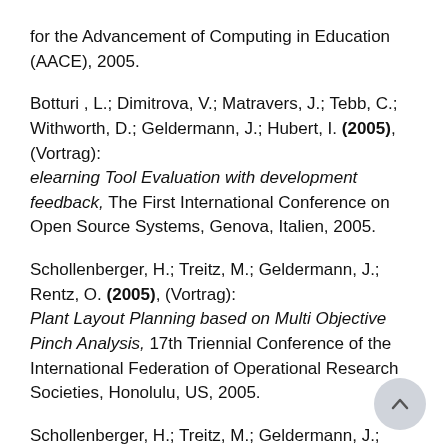for the Advancement of Computing in Education (AACE), 2005.
Botturi , L.; Dimitrova, V.; Matravers, J.; Tebb, C.; Withworth, D.; Geldermann, J.; Hubert, I. (2005), (Vortrag): elearning Tool Evaluation with development feedback, The First International Conference on Open Source Systems, Genova, Italien, 2005.
Schollenberger, H.; Treitz, M.; Geldermann, J.; Rentz, O. (2005), (Vortrag): Plant Layout Planning based on Multi Objective Pinch Analysis, 17th Triennial Conference of the International Federation of Operational Research Societies, Honolulu, US, 2005.
Schollenberger, H.; Treitz, M.; Geldermann, J.; Rentz, O. (2005), (Vortrag): Best Available Techniques for Industrial Air Combustion Sources...